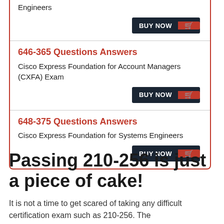Engineers
BUY NOW
646-365 Questions Answers
Cisco Express Foundation for Account Managers (CXFA) Exam
BUY NOW
648-375 Questions Answers
Cisco Express Foundation for Systems Engineers
BUY NOW
Passing 210-256 is just a piece of cake!
It is not a time to get scared of taking any difficult certification exam such as 210-256. The